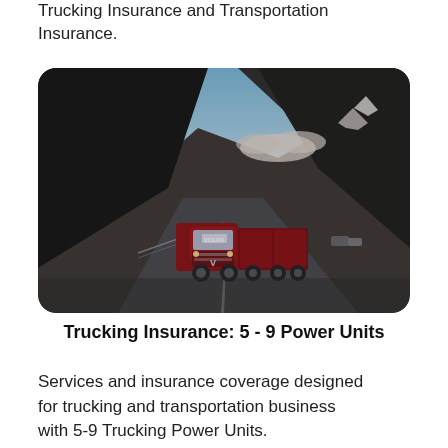Trucking Insurance and Transportation Insurance.
[Figure (photo): A red Volvo semi-truck driving on a mountain highway road at dusk, with dark rocky mountains on either side and a colorful sky in the background.]
Trucking Insurance: 5 - 9 Power Units
Services and insurance coverage designed for trucking and transportation business with 5-9 Trucking Power Units.